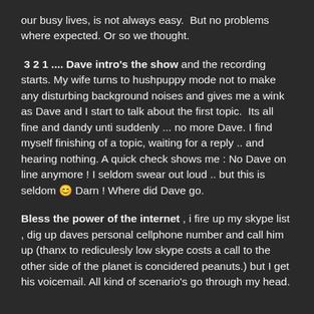our busy lives, is not always easy.  But no problems where expected. Or so we thought.
3 2 1 .... Dave intro's the show and the recording starts. My wife turns to hushpuppy mode not to make any disturbing background noises and gives me a wink as Dave and I start to talk about the first topic.  Its all fine and dandy unti suddenly ... no more Dave. I find myself finishing of a topic, waiting for a reply .. and hearing nothing. A quick check shows me : No Dave on line anymore ! I seldom swear out loud .. but this is seldom 😊 Darn ! Where did Dave go.
Bless the power of the internet , i fire up my skype list , dig up daves personal cellphone number and call him up (thanx to rediculesly low skype costs a call to the other side of the planet is concidered peanuts.) but I get his voicemail. All kind of scenario's go through my head.